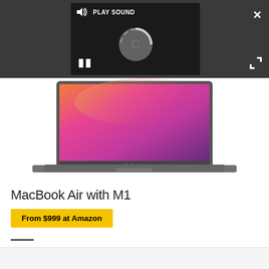[Figure (screenshot): Dark video player overlay with PLAY SOUND button, loading spinner circle, pause icon, shown on a dark gray top bar. Close (X) button top-right, expand icon below it.]
[Figure (photo): MacBook Air laptop with M1 chip, open, showing a colorful macOS Big Sur wallpaper with pink, orange, red and purple gradients. The laptop is silver/space gray.]
MacBook Air with M1
From $999 at Amazon